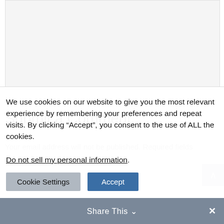[Figure (other): Gray placeholder image area at top of page]
Submit a Comment
Your email address will not be published. Required fields are marked *
We use cookies on our website to give you the most relevant experience by remembering your preferences and repeat visits. By clicking “Accept”, you consent to the use of ALL the cookies.
Do not sell my personal information.
Cookie Settings   Accept
Share This